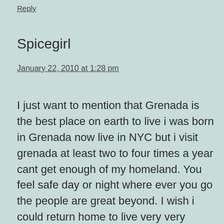Reply
Spicegirl
January 22, 2010 at 1:28 pm
I just want to mention that Grenada is the best place on earth to live i was born in Grenada now live in NYC but i visit grenada at least two to four times a year cant get enough of my homeland. You feel safe day or night where ever you go the people are great beyond. I wish i could return home to live very very soooon. Come visit my island Grenada